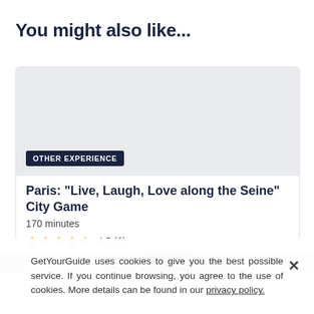You might also like...
[Figure (other): Card image placeholder — light grey rectangle with 'OTHER EXPERIENCE' dark badge in lower left]
Paris: "Live, Laugh, Love along the Seine" City Game
170 minutes
4.5 (6)
From US$ 10 per person
[Figure (photo): Partial view of a second card image — pinkish/rose-gold toned strip visible at bottom]
GetYourGuide uses cookies to give you the best possible service. If you continue browsing, you agree to the use of cookies. More details can be found in our privacy policy.